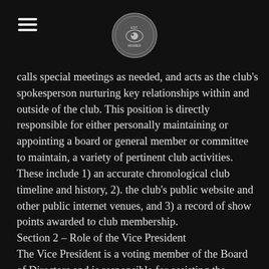[hamburger menu icon] [club logo/seal]
calls special meetings as needed, and acts as the club's spokesperson nurturing key relationships within and outside of the club. This position is directly responsible for either personally maintaining or appointing a board or general member or committee to maintain, a variety of pertinent club activities.  These include 1) an accurate chronological club timeline and history, 2). the club's public website and other public internet venues, and 3) a record of show points awarded to club membership.
Section 2 – Role of the Vice President
The Vice President is a voting member of the Board of Directors and is responsible for assisting the President to fulfil his/her responsibilities for providing leadership and direction to the board. He/she is responsible for gathering, coordinating, creating and disseminating the information necessary to report to the club's general membership